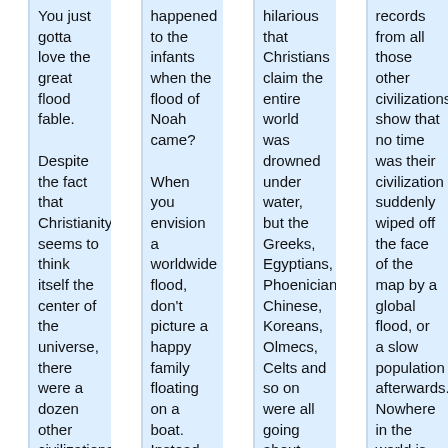You just gotta love the great flood fable.

Despite the fact that Christianity seems to think itself the center of the universe, there were a dozen other civilizations at the time of Noah's flood who somehow managed to not be drowned or even mildly inconvenienced by the great flood that supposedly
happened to the infants when the flood of Noah came?

When you envision a worldwide flood, don't picture a happy family floating on a boat. Instead, attempt to picture in your mind the image of a single crib with a single, terrified baby,
hilarious that Christians claim the entire world was drowned under water, but the Greeks, Egyptians, Phoenicians, Chinese, Koreans, Olmecs, Celts and so on were all going about their business without noticing they were supposed to be drowning under mountains and
records from all those other civilizations show that no time was their civilization suddenly wiped off the face of the map by a global flood, or a slow population afterwards. Nowhere in the world is there any evidence of such an event. No archeological evidence, geological evidence, historical evidence,